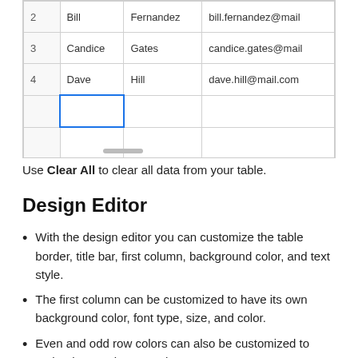[Figure (screenshot): Spreadsheet table screenshot showing rows 2-4 with data (Bill Fernandez bill.fernandez@mail, Candice Gates candice.gates@mail, Dave Hill dave.hill@mail.com) and an empty selected cell in row 5, plus empty rows 6-7. A scrollbar is visible at the bottom.]
Use Clear All to clear all data from your table.
Design Editor
With the design editor you can customize the table border, title bar, first column, background color, and text style.
The first column can be customized to have its own background color, font type, size, and color.
Even and odd row colors can also be customized to make data easier to read.